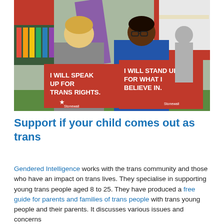[Figure (photo): Two young people at an outdoor event, each holding red Stonewall signs. One sign reads 'I WILL SPEAK UP FOR TRANS RIGHTS.' and the other reads 'I WILL STAND UP FOR WHAT I BELIEVE IN.' A purple banner is visible in the background along with event tents and colourful bunting.]
Support if your child comes out as trans
Gendered Intelligence works with the trans community and those who have an impact on trans lives. They specialise in supporting young trans people aged 8 to 25. They have produced a free guide for parents and families of trans people with trans young people and their parents. It discusses various issues and concerns